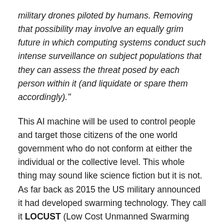military drones piloted by humans. Removing that possibility may involve an equally grim future in which computing systems conduct such intense surveillance on subject populations that they can assess the threat posed by each person within it (and liquidate or spare them accordingly)."
This AI machine will be used to control people and target those citizens of the one world government who do not conform at either the individual or the collective level. This whole thing may sound like science fiction but it is not. As far back as 2015 the US military announced it had developed swarming technology. They call it LOCUST (Low Cost Unmanned Swarming Technology).
So John was correct in describing what he saw; they